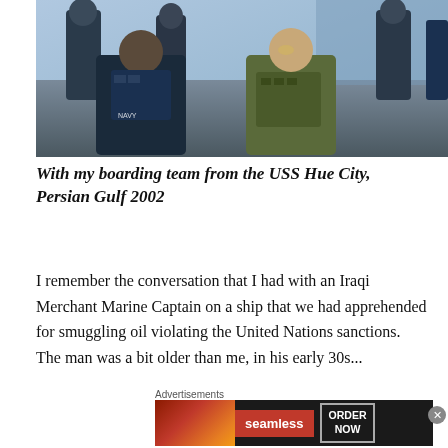[Figure (photo): Group photo of military boarding team members in tactical gear, vests, and uniforms on a ship deck with water visible in the background, Persian Gulf 2002]
With my boarding team from the USS Hue City, Persian Gulf 2002
I remember the conversation that I had with an Iraqi Merchant Marine Captain on a ship that we had apprehended for smuggling oil violating the United Nations sanctions.  The man was a bit older than me, in his early 30s...
Advertisements
[Figure (screenshot): Seamless food delivery advertisement banner showing pizza image on left, seamless logo in red center, and ORDER NOW button on right]